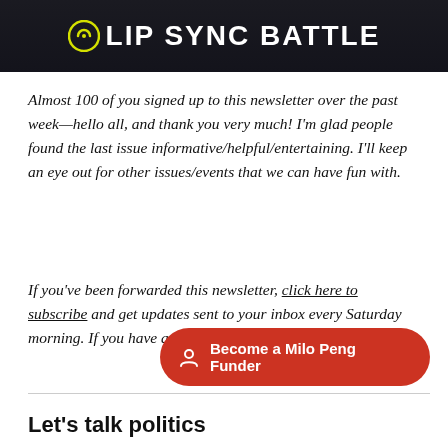[Figure (photo): Dark banner with crowd background showing 'LIP SYNC BATTLE' logo with Comedy Central circular logo mark in yellow]
Almost 100 of you signed up to this newsletter over the past week—hello all, and thank you very much! I'm glad people found the last issue informative/helpful/entertaining. I'll keep an eye out for other issues/events that we can have fun with.
If you've been forwarded this newsletter, click here to subscribe and get updates sent to your inbox every Saturday morning. If you have any feedback, just hit reply!
[Figure (other): Red rounded rectangle button with person/user icon and text 'Become a Milo Peng Funder']
Let's talk politics